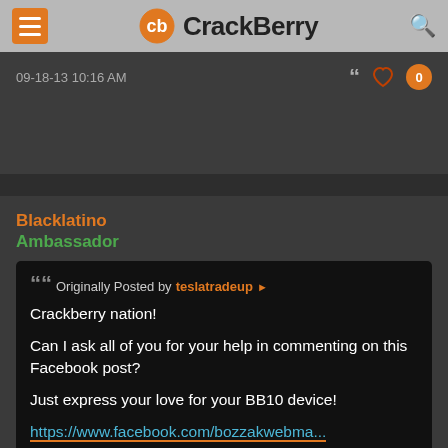CrackBerry
09-18-13 10:16 AM
Blacklatino
Ambassador
Originally Posted by teslatradeup
Crackberry nation!

Can I ask all of you for your help in commenting on this Facebook post?

Just express your love for your BB10 device!

https://www.facebook.com/bozzakwebma...53239959600510

I just want to put my cousin in his place - he's a hardcore Apple fanboy and he won't be